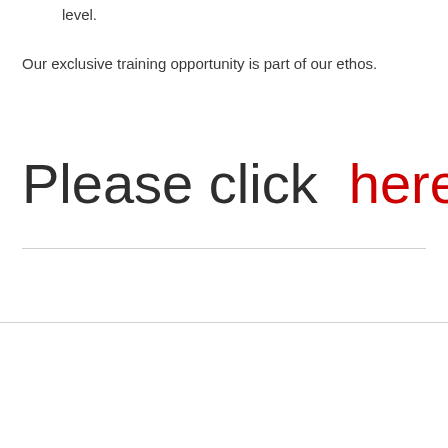level.
Our exclusive training opportunity is part of our ethos.
Please click  here